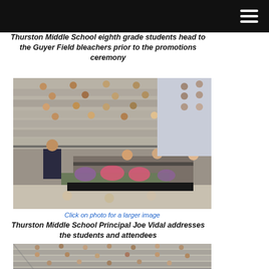Navigation menu bar
Thurston Middle School eighth grade students head to the Guyer Field bleachers prior to the promotions ceremony
[Figure (photo): Thurston Middle School eighth grade students seated in bleachers at Guyer Field, with a man in a dark suit speaking at a podium in the foreground and women seated on a decorated stage platform, flowers visible at base]
Click on photo for a larger image
Thurston Middle School Principal Joe Vidal addresses the students and attendees
[Figure (photo): Students gathered in bleachers viewed from a distance at the promotions ceremony]